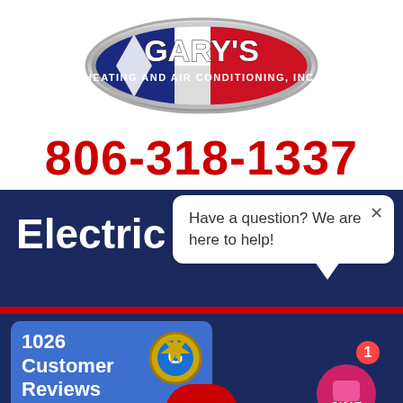[Figure (logo): Gary's Heating and Air Conditioning, Inc. oval logo with Texas flag motif, metallic silver border]
806-318-1337
Electric
Have a question? We are here to help!
[Figure (infographic): 1026 Customer Reviews widget with 5 stars and gold badge, powered by BirdEye]
powered by BirdEye
[Figure (infographic): Chat button with notification badge showing 1, labeled CHAT]
Total Electr    ystems in